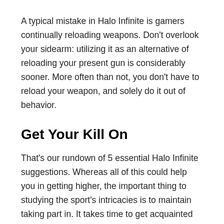A typical mistake in Halo Infinite is gamers continually reloading weapons. Don't overlook your sidearm: utilizing it as an alternative of reloading your present gun is considerably sooner. More often than not, you don't have to reload your weapon, and solely do it out of behavior.
Get Your Kill On
That's our rundown of 5 essential Halo Infinite suggestions. Whereas all of this could help you in getting higher, the important thing to studying the sport's intricacies is to maintain taking part in. It takes time to get acquainted with every gun's fashion and the map layouts, and hone your abilities. So, Spartan, get on the market and proceed preventing.
Based mostly on what we've seen thus far, the gameplay of